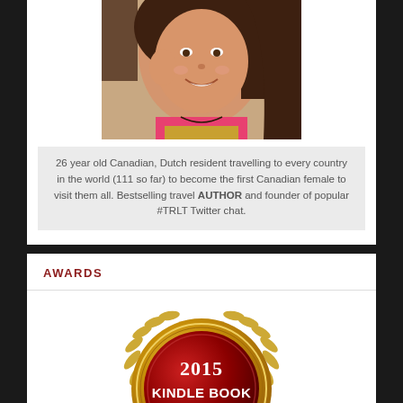[Figure (photo): Portrait photo of a smiling young woman with dark hair, wearing a pink top, taken outdoors]
26 year old Canadian, Dutch resident travelling to every country in the world (111 so far) to become the first Canadian female to visit them all. Bestselling travel AUTHOR and founder of popular #TRLT Twitter chat.
AWARDS
[Figure (logo): 2015 Kindle Book Awards gold medal badge with laurel wreath]